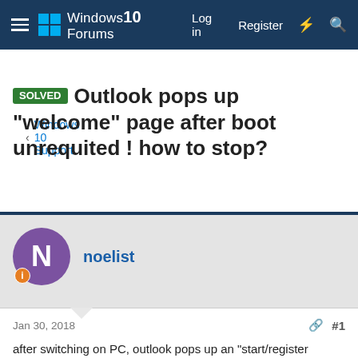Windows 10 Forums  Log in  Register
< Windows 10 Support
SOLVED Outlook pops up "welcome" page after boot unrequited ! how to stop?
noelist · Jan 30, 2018
noelist
Jan 30, 2018  #1
after switching on PC, outlook pops up an "start/register account" page after boot up, this started happening after